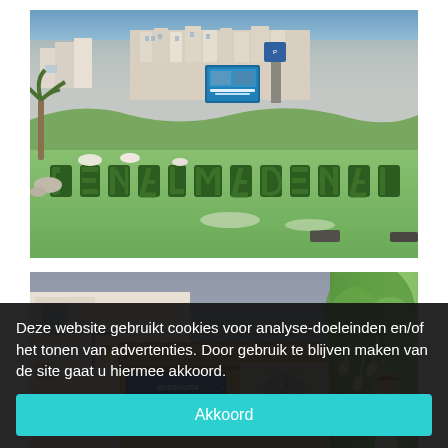[Figure (photo): Aerial/ground-level photo of a Mediterranean town (Benalmádena or similar Spanish coastal town) with topiary hedges forming letters spelling 'BENALMADENA' on a hillside, with white apartment buildings in the background, palm trees, and blue sky.]
[Figure (photo): Street-level photo of a Spanish restaurant/bar called 'Bodeguita' with white walls, terracotta roof tiles, a Samsung air conditioning unit, flowering trees (angel's trumpet), and a person in white shirt visible on the right side.]
Deze website gebruikt cookies voor analyse-doeleinden en/of het tonen van advertenties. Door gebruik te blijven maken van de site gaat u hiermee akkoord.
Akkoord